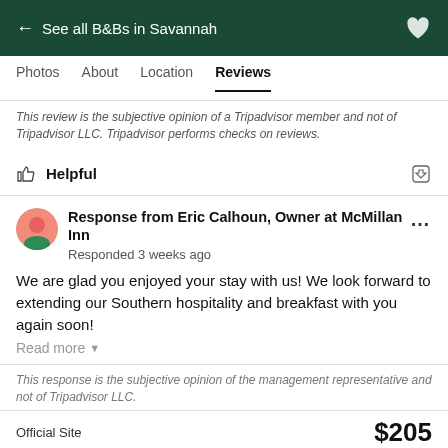← See all B&Bs in Savannah
Photos  About  Location  Reviews
This review is the subjective opinion of a Tripadvisor member and not of Tripadvisor LLC. Tripadvisor performs checks on reviews.
Helpful
Response from Eric Calhoun, Owner at McMillan Inn
Responded 3 weeks ago
We are glad you enjoyed your stay with us! We look forward to extending our Southern hospitality and breakfast with you again soon!
Read more
This response is the subjective opinion of the management representative and not of Tripadvisor LLC.
Official Site  $205
View deal